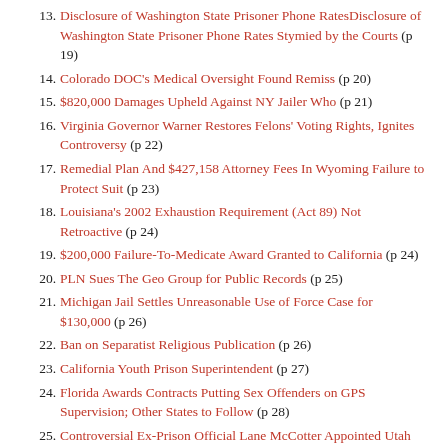13. Disclosure of Washington State Prisoner Phone RatesDisclosure of Washington State Prisoner Phone Rates Stymied by the Courts (p 19)
14. Colorado DOC's Medical Oversight Found Remiss (p 20)
15. $820,000 Damages Upheld Against NY Jailer Who (p 21)
16. Virginia Governor Warner Restores Felons' Voting Rights, Ignites Controversy (p 22)
17. Remedial Plan And $427,158 Attorney Fees In Wyoming Failure to Protect Suit (p 23)
18. Louisiana's 2002 Exhaustion Requirement (Act 89) Not Retroactive (p 24)
19. $200,000 Failure-To-Medicate Award Granted to California (p 24)
20. PLN Sues The Geo Group for Public Records (p 25)
21. Michigan Jail Settles Unreasonable Use of Force Case for $130,000 (p 26)
22. Ban on Separatist Religious Publication (p 26)
23. California Youth Prison Superintendent (p 27)
24. Florida Awards Contracts Putting Sex Offenders on GPS Supervision; Other States to Follow (p 28)
25. Controversial Ex-Prison Official Lane McCotter Appointed Utah J.P. (p 29)
26. Politics Keeps Arizona Clemency Approvals Rare (p 30)